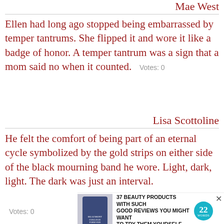Mae West
Ellen had long ago stopped being embarrassed by temper tantrums. She flipped it and wore it like a badge of honor. A temper tantrum was a sign that a mom said no when it counted.   Votes: 0
Lisa Scottoline
He felt the comfort of being part of an eternal cycle symbolized by the gold strips on either side of the black mourning band he wore. Light, dark, light. The dark was just an interval.
Votes: 0
[Figure (infographic): Advertisement banner: image of a product jar on left, bold text '37 BEAUTY PRODUCTS WITH SUCH GOOD REVIEWS YOU MIGHT WANT TO TRY THEM YOURSELF', teal circular badge with '22 WORDS', and close X button]
npbell
She wore blue velvet Bluer than velvet was the night Softer than satin was the light From the